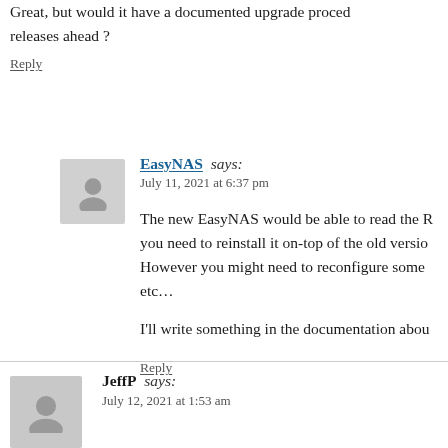Great, but would it have a documented upgrade procedure for releases ahead ?
Reply
EasyNAS says:
July 11, 2021 at 6:37 pm
The new EasyNAS would be able to read the previous config, you need to reinstall it on-top of the old version. However you might need to reconfigure some etc…
I'll write something in the documentation about
Reply
JeffP says:
July 12, 2021 at 1:53 am